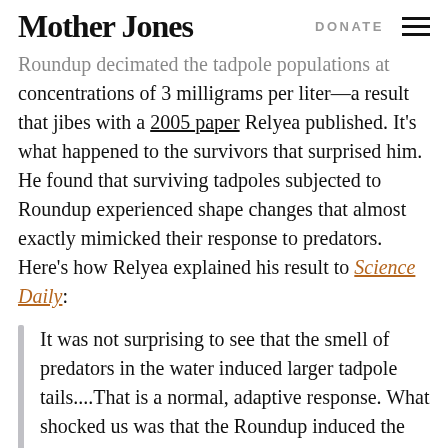Mother Jones   DONATE
Roundup decimated the tadpole populations at concentrations of 3 milligrams per liter—a result that jibes with a 2005 paper Relyea published. It's what happened to the survivors that surprised him. He found that surviving tadpoles subjected to Roundup experienced shape changes that almost exactly mimicked their response to predators. Here's how Relyea explained his result to Science Daily:
It was not surprising to see that the smell of predators in the water induced larger tadpole tails....That is a normal, adaptive response. What shocked us was that the Roundup induced the same changes. Moreover, the